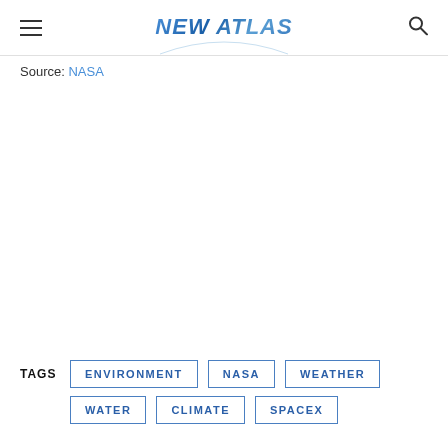NEW ATLAS
Source: NASA
TAGS  ENVIRONMENT  NASA  WEATHER  WATER  CLIMATE  SPACEX